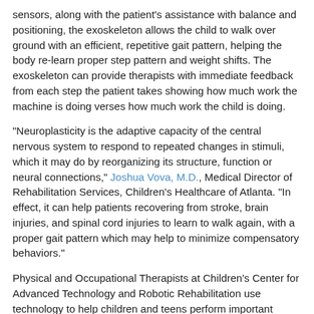sensors, along with the patient's assistance with balance and positioning, the exoskeleton allows the child to walk over ground with an efficient, repetitive gait pattern, helping the body re-learn proper step pattern and weight shifts. The exoskeleton can provide therapists with immediate feedback from each step the patient takes showing how much work the machine is doing verses how much work the child is doing.
"Neuroplasticity is the adaptive capacity of the central nervous system to respond to repeated changes in stimuli, which it may do by reorganizing its structure, function or neural connections," Joshua Vova, M.D., Medical Director of Rehabilitation Services, Children's Healthcare of Atlanta. "In effect, it can help patients recovering from stroke, brain injuries, and spinal cord injuries to learn to walk again, with a proper gait pattern which may help to minimize compensatory behaviors."
Physical and Occupational Therapists at Children's Center for Advanced Technology and Robotic Rehabilitation use technology to help children and teens perform important repetitive movements in different ways. This can help children with impairments build strength and coordination. It can also allow the therapists to work with patients on skills he or she may not be able to perform otherwise. Research shows that therapy with repetitive and random patterns helps the brain and spinal cord work together increasing strength, coordination, function and independence.